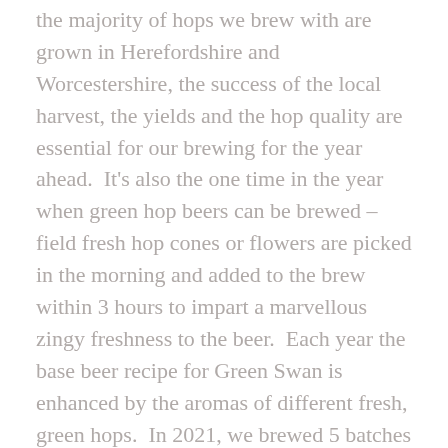the majority of hops we brew with are grown in Herefordshire and Worcestershire, the success of the local harvest, the yields and the hop quality are essential for our brewing for the year ahead.  It's also the one time in the year when green hop beers can be brewed – field fresh hop cones or flowers are picked in the morning and added to the brew within 3 hours to impart a marvellous zingy freshness to the beer.  Each year the base beer recipe for Green Swan is enhanced by the aromas of different fresh, green hops.  In 2021, we brewed 5 batches of Green Swan.  For casks the hops and growers were:
Goldings Green Swan – Mill End Farm, Castle Frome – Sarah Hawkins – honey